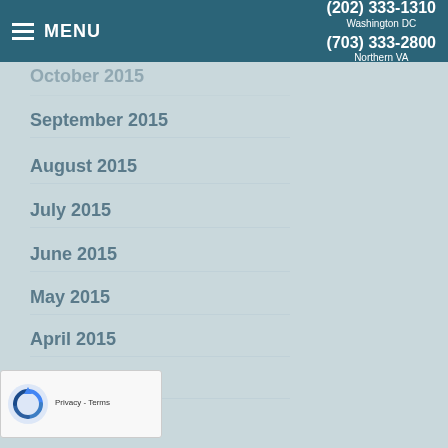MENU | (202) 333-1310 Washington DC | (703) 333-2800 Northern VA
October 2015
September 2015
August 2015
July 2015
June 2015
May 2015
April 2015
March 2015
February 2015
January 2015
December 2014
November 2014
October 2014